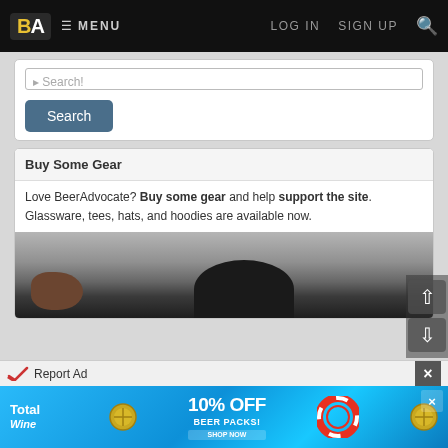BA MENU  LOG IN  SIGN UP
Search (input field)
Search (button)
Buy Some Gear
Love BeerAdvocate? Buy some gear and help support the site. Glassware, tees, hats, and hoodies are available now.
[Figure (photo): Photo of a person holding a dark baseball cap against a grey background]
Report Ad
[Figure (infographic): Total Wine advertisement banner: 10% OFF BEER PACKS! with lifebuoy and coin graphics on blue water background]